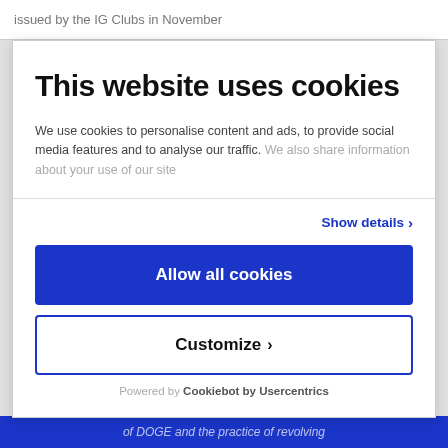issued by the IG Clubs in November
This website uses cookies
We use cookies to personalise content and ads, to provide social media features and to analyse our traffic. We also share information about your use of our site
Show details ›
Allow all cookies
Customize ›
Powered by Cookiebot by Usercentrics
of DOGE and the practice of revolving